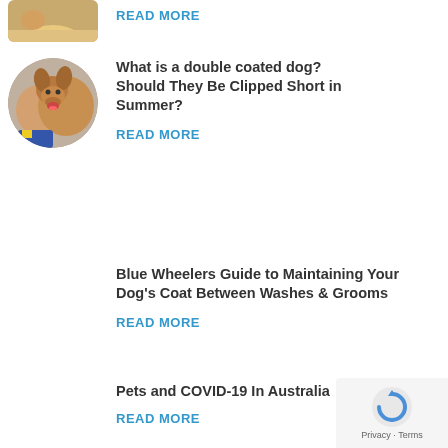[Figure (photo): Partial dog photo thumbnail cropped at top]
READ MORE
[Figure (photo): Selfie photo of person with German Shepherd dog, circular thumbnail]
What is a double coated dog? Should They Be Clipped Short in Summer?
READ MORE
Blue Wheelers Guide to Maintaining Your Dog’s Coat Between Washes & Grooms
READ MORE
Pets and COVID-19 In Australia
READ MORE